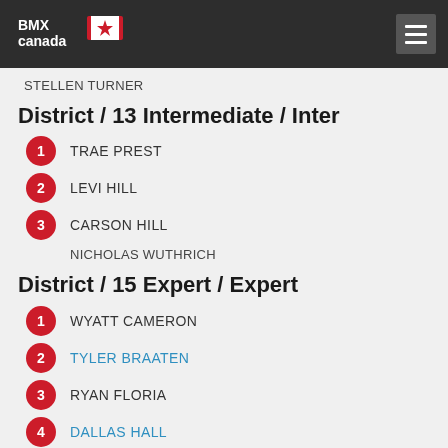BMX Canada
STELLEN TURNER
District / 13 Intermediate / Inter
1 TRAE PREST
2 LEVI HILL
3 CARSON HILL
NICHOLAS WUTHRICH
District / 15 Expert / Expert
1 WYATT CAMERON
2 TYLER BRAATEN
3 RYAN FLORIA
4 DALLAS HALL
5 JAKE HAAMERS